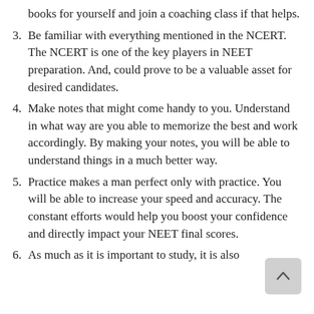(continued) books for yourself and join a coaching class if that helps.
3. Be familiar with everything mentioned in the NCERT. The NCERT is one of the key players in NEET preparation. And, could prove to be a valuable asset for desired candidates.
4. Make notes that might come handy to you. Understand in what way are you able to memorize the best and work accordingly. By making your notes, you will be able to understand things in a much better way.
5. Practice makes a man perfect only with practice. You will be able to increase your speed and accuracy. The constant efforts would help you boost your confidence and directly impact your NEET final scores.
6. As much as it is important to study, it is also